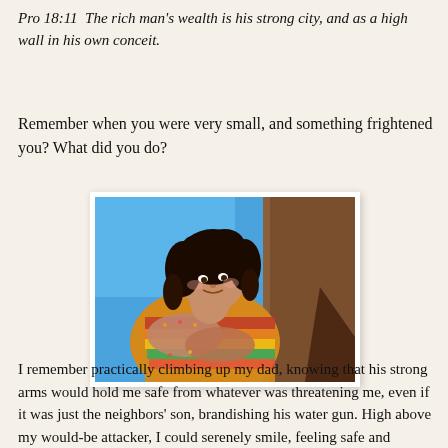Pro 18:11  The rich man's wealth is his strong city, and as a high wall in his own conceit.
Remember when you were very small, and something frightened you? What did you do?
[Figure (photo): A young woman with dark curly hair hugging something, wearing a colorful knit sweater, with a blue sky and a brown wall/pillar behind her. She is smiling slightly and looking to the side.]
I remember practically climbing up my dad, knowing that his strong arms would hold me safe from whatever was threatening me, even if it was just the neighbors' son, brandishing his water gun. High above my would-be attacker, I could serenely smile, feeling safe and secure.